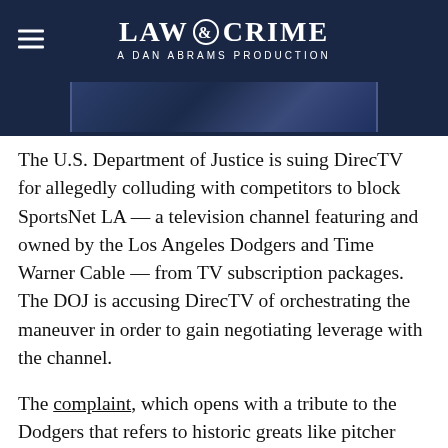LAW & CRIME — A DAN ABRAMS PRODUCTION
[Figure (photo): Partial nighttime exterior photo of a stadium or arena, dark blue tones]
The U.S. Department of Justice is suing DirecTV for allegedly colluding with competitors to block SportsNet LA — a television channel featuring and owned by the Los Angeles Dodgers and Time Warner Cable — from TV subscription packages. The DOJ is accusing DirecTV of orchestrating the maneuver in order to gain negotiating leverage with the channel.
The complaint, which opens with a tribute to the Dodgers that refers to historic greats like pitcher Sandy Koufax, manager Tommy Lasorda,